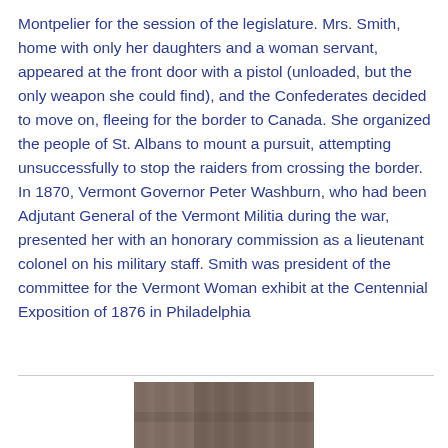Montpelier for the session of the legislature. Mrs. Smith, home with only her daughters and a woman servant, appeared at the front door with a pistol (unloaded, but the only weapon she could find), and the Confederates decided to move on, fleeing for the border to Canada. She organized the people of St. Albans to mount a pursuit, attempting unsuccessfully to stop the raiders from crossing the border. In 1870, Vermont Governor Peter Washburn, who had been Adjutant General of the Vermont Militia during the war, presented her with an honorary commission as a lieutenant colonel on his military staff. Smith was president of the committee for the Vermont Woman exhibit at the Centennial Exposition of 1876 in Philadelphia
[Figure (photo): Partial photograph visible at bottom of page, cropped, showing what appears to be a historical image in sepia/brown tones]